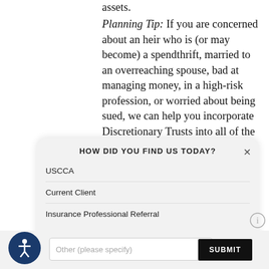assets.
Planning Tip:  If you are concerned about an heir who is (or may become) a spendthrift, married to an overreaching spouse, bad at managing money, in a high-risk profession, or worried about being sued, we can help you incorporate Discretionary Trusts into all of the
HOW DID YOU FIND US TODAY?
USCCA
Current Client
Insurance Professional Referral
Other (please specify)
SUBMIT